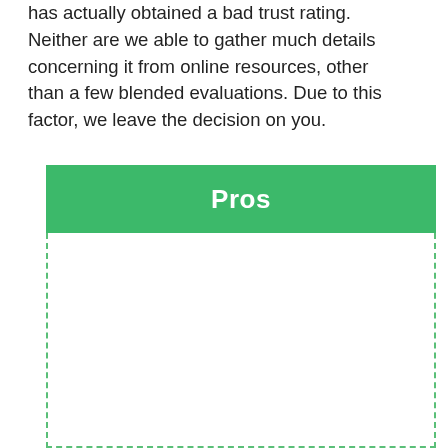has actually obtained a bad trust rating. Neither are we able to gather much details concerning it from online resources, other than a few blended evaluations. Due to this factor, we leave the decision on you.
Pros
It is having a sale on its entire collection.
You will obtain edgy style as well as fashionable apparel from the shop.
Return your order within 15 company days if found